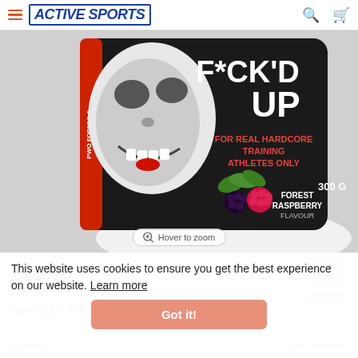ACTIVE SPORTS
[Figure (photo): A dark product container labeled 'F*CK'D UP' for hardcore training athletes only, Forest Raspberry flavour, 300G, PWO formula. Shows a creepy grinning face and raspberry fruits on the label.]
Hover to zoom
This website uses cookies to ensure you get the best experience on our website. Learn more
£25.95
RRP £39.99
Save £14.04
Got it!
Flavour
× Clear selection